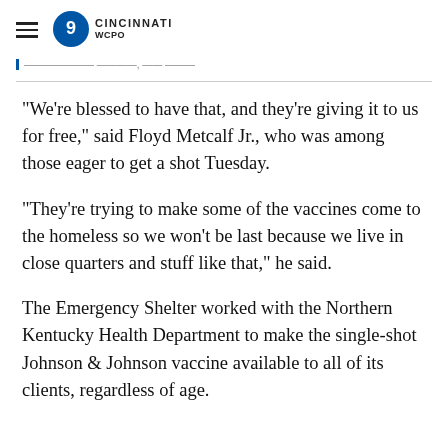WCPO CINCINNATI
"We're blessed to have that, and they're giving it to us for free," said Floyd Metcalf Jr., who was among those eager to get a shot Tuesday.
"They're trying to make some of the vaccines come to the homeless so we won't be last because we live in close quarters and stuff like that," he said.
The Emergency Shelter worked with the Northern Kentucky Health Department to make the single-shot Johnson & Johnson vaccine available to all of its clients, regardless of age.